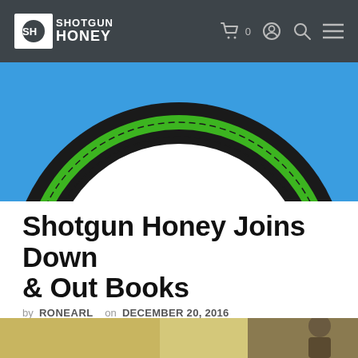Shotgun Honey — navigation bar with logo, cart (0), account, search, and menu icons
[Figure (photo): Close-up of the top portion of a book cover featuring a green and black circular element on a bright blue background]
Shotgun Honey Joins Down & Out Books
by RONEARL  on  DECEMBER 20, 2016
Today Shotgun Honey is thrilled to announce a new partnership with Eric Campbell and Down...
CONTINUE READING
[Figure (photo): Bottom strip of a second article's photo showing an interior room scene]